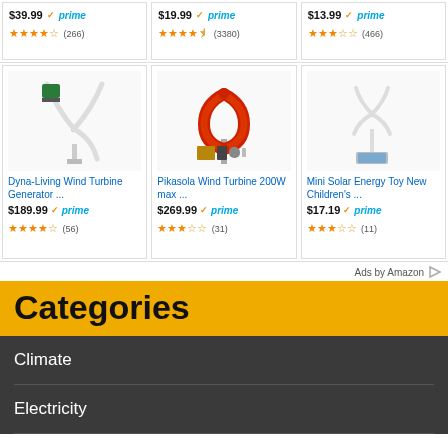[Figure (screenshot): Three product cards (top partial row): prices $39.99 with Prime (266 reviews), $19.99 with Prime (3380 reviews), $13.99 with Prime (466 reviews), all showing star ratings around 4 stars]
[Figure (screenshot): Three product cards: Dyna-Living Wind Turbine Generator $189.99 Prime 3.5 stars (56), Pikasola Wind Turbine 200W max $269.99 Prime 3 stars (31), Mini Solar Energy Toy New Children's $17.19 Prime 3 stars (11)]
Ads by Amazon
Categories
Climate
Electricity